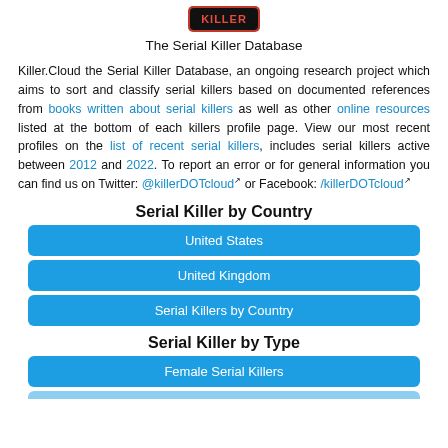[Figure (logo): Killer.Cloud logo — red text on dark background button shape]
The Serial Killer Database
Killer.Cloud the Serial Killer Database, an ongoing research project which aims to sort and classify serial killers based on documented references from books written about serial killers as well as other online resources listed at the bottom of each killers profile page. View our most recent profiles on the list of recent serial killers, includes serial killers active between 2012 and 2022. To report an error or for general information you can find us on Twitter: @killerDOTcloud or Facebook: /killerDOTcloud
Serial Killer by Country
United States
United Kingdom
Serial Killers by Country
Serial Killer by Type
Female Serial Killers